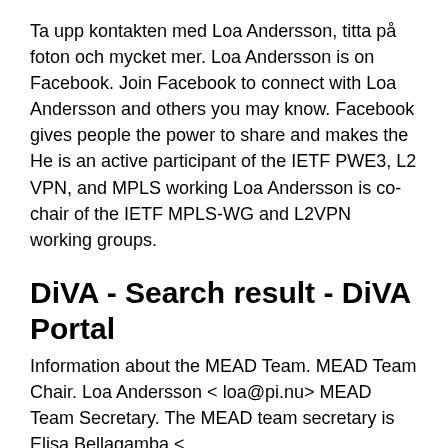Ta upp kontakten med Loa Andersson, titta på foton och mycket mer. Loa Andersson is on Facebook. Join Facebook to connect with Loa Andersson and others you may know. Facebook gives people the power to share and makes the He is an active participant of the IETF PWE3, L2 VPN, and MPLS working Loa Andersson is co-chair of the IETF MPLS-WG and L2VPN working groups.
DiVA - Search result - DiVA Portal
Information about the MEAD Team. MEAD Team Chair. Loa Andersson < loa@pi.nu> MEAD Team Secretary. The MEAD team secretary is Elisa Bellagamba < elisa.bellagamba@ericsson.com>